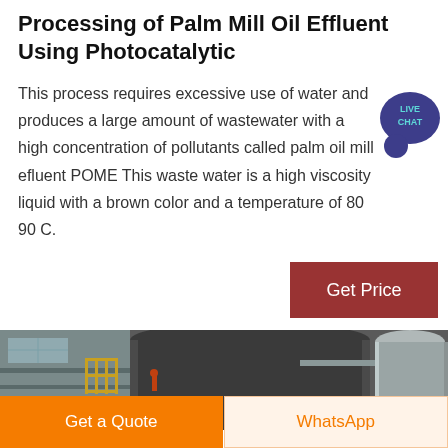Processing of Palm Mill Oil Effluent Using Photocatalytic
This process requires excessive use of water and produces a large amount of wastewater with a high concentration of pollutants called palm oil mill efluent POME This waste water is a high viscosity liquid with a brown color and a temperature of 80 90 C.
[Figure (photo): Industrial palm oil mill equipment: large cylindrical tanks and metal processing structures inside a factory building]
Get a Quote | WhatsApp